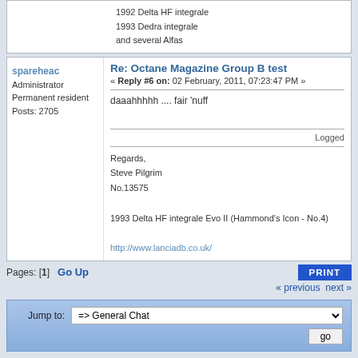1992 Delta HF integrale
1993 Dedra integrale
and several Alfas
Re: Octane Magazine Group B test
« Reply #6 on: 02 February, 2011, 07:23:47 PM »
spareheac
Administrator
Permanent resident
Posts: 2705
daaahhhhh .... fair 'nuff
Logged
Regards,
Steve Pilgrim
No.13575

1993 Delta HF integrale Evo II (Hammond's Icon - No.4)

http://www.lanciadb.co.uk/
Pages: [1]  Go Up
« previous  next »
Jump to: => General Chat  go
Contact the Forum Administrator
LMC Forum copyright © 2007 - 2021 Lancia Motor Club Ltd
Powered by SMF 1.1.20 | SMF © 2006-2011, Simple Machines